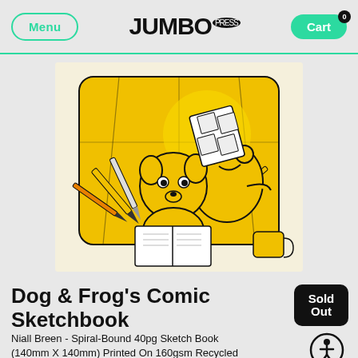Menu | JUMBO PRESS | Cart 0
[Figure (illustration): Cartoon illustration of two yellow blob characters (Dog and Frog) sitting in a large yellow box/room. One character draws in a sketchbook while the other holds up a comic page. Pencils and crayons surround them.]
Dog & Frog's Comic Sketchbook
Niall Breen - Spiral-Bound 40pg Sketch Book (140mm X 140mm) Printed On 160gsm Recycled
Sold Out